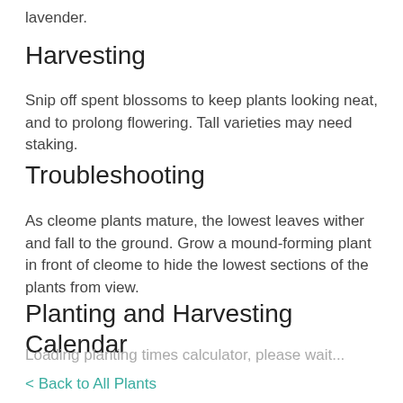lavender.
Harvesting
Snip off spent blossoms to keep plants looking neat, and to prolong flowering. Tall varieties may need staking.
Troubleshooting
As cleome plants mature, the lowest leaves wither and fall to the ground. Grow a mound-forming plant in front of cleome to hide the lowest sections of the plants from view.
Planting and Harvesting Calendar
Loading planting times calculator, please wait...
< Back to All Plants
Pests which Affect Cleome